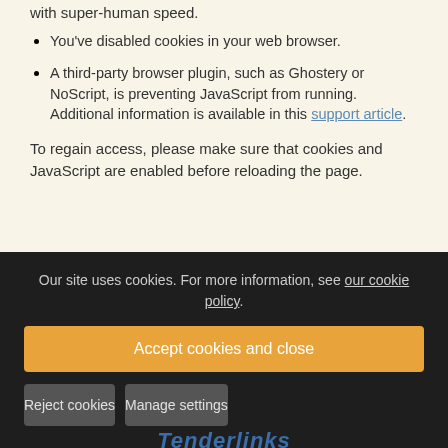You've disabled cookies in your web browser.
A third-party browser plugin, such as Ghostery or NoScript, is preventing JavaScript from running. Additional information is available in this support article.
To regain access, please make sure that cookies and JavaScript are enabled before reloading the page.
Our site uses cookies. For more information, see our cookie policy.
Accept cookies and close
Reject cookies
Manage settings